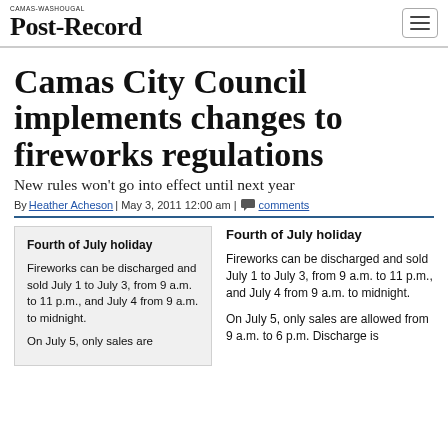CAMAS-WASHOUGAL POST-RECORD
Camas City Council implements changes to fireworks regulations
New rules won't go into effect until next year
By Heather Acheson | May 3, 2011 12:00 am | comments
Fourth of July holiday

Fireworks can be discharged and sold July 1 to July 3, from 9 a.m. to 11 p.m., and July 4 from 9 a.m. to midnight.

On July 5, only sales are
Fourth of July holiday

Fireworks can be discharged and sold July 1 to July 3, from 9 a.m. to 11 p.m., and July 4 from 9 a.m. to midnight.

On July 5, only sales are allowed from 9 a.m. to 6 p.m. Discharge is